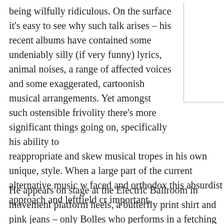being wilfully ridiculous. On the surface it's easy to see why such talk arises – his recent albums have contained some undeniably silly (if very funny) lyrics, animal noises, a range of affected voices and some exaggerated, cartoonish musical arrangements. Yet amongst such ostensible frivolity there's more significant things going on, specifically his ability to reappropriate and skew musical tropes in his own unique, style. When a large part of the current alternative music w faced and orthodox this absurdist approach and leftfield cr important.
He appears on stage at the Electric Ballroom in movement platform heels, a butterfly print shirt and pink jeans – only Bolles who performs in a fetching lime green bikini and c